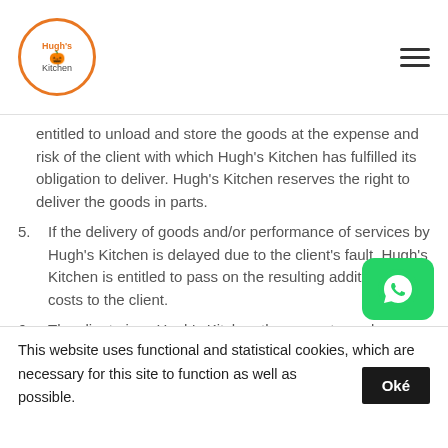Hugh's Kitchen
entitled to unload and store the goods at the expense and risk of the client with which Hugh's Kitchen has fulfilled its obligation to deliver. Hugh's Kitchen reserves the right to deliver the goods in parts.
5. If the delivery of goods and/or performance of services by Hugh's Kitchen is delayed due to the client's fault, Hugh's Kitchen is entitled to pass on the resulting additional costs to the client.
6. The client gives Hugh's Kitchen the space to work according to the legal regulations in the field of hygiene, health and environment.
This website uses functional and statistical cookies, which are necessary for this site to function as well as possible.